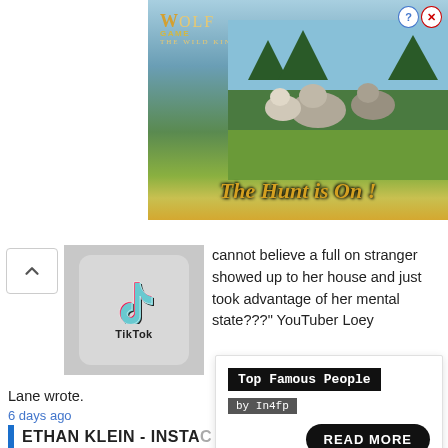[Figure (screenshot): Wolf Game advertisement banner with wolves in a field, text 'THE HUNT IS ON!' in gold, with close/help buttons in top right]
[Figure (screenshot): TikTok app icon on a smartphone screen thumbnail]
cannot believe a full on stranger showed up to her house and just took advantage of her mental state???" YouTuber Loey Lane wrote.
6 days ago
ETHAN KLEIN - INSTA
[Figure (screenshot): Popup widget: Top Famous People by In4fp, with Read More button and link to Lee Asher - Bio, Age, Wiki, Facts and Family - in4fp.com]